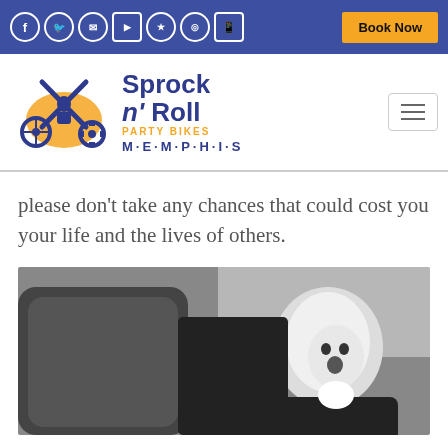Sprock n' Roll Party Bikes Memphis — website header with social icons and Book Now button
[Figure (logo): Sprock n' Roll Party Bikes Memphis logo with crossed guitars, bicycle wheel and gear on blue/gold design]
please don't take any chances that could cost you your life and the lives of others.
[Figure (photo): Black and white photo of a baby in a car seat looking out the window with mouth open]